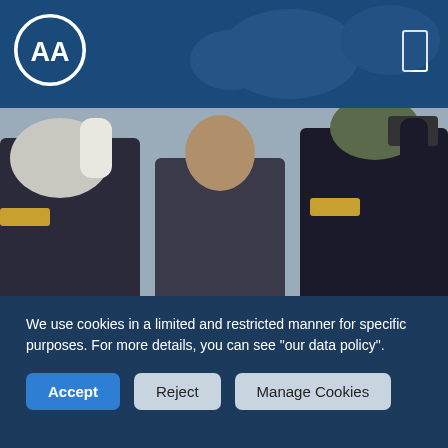AA (Anadolu Agency)
[Figure (photo): Military officers in dark uniforms saluting, with a man in a suit (French president Macron) in the center, photographed from behind.]
French president Macron to visit Algeria next week
We use cookies in a limited and restricted manner for specific purposes. For more details, you can see "our data policy".